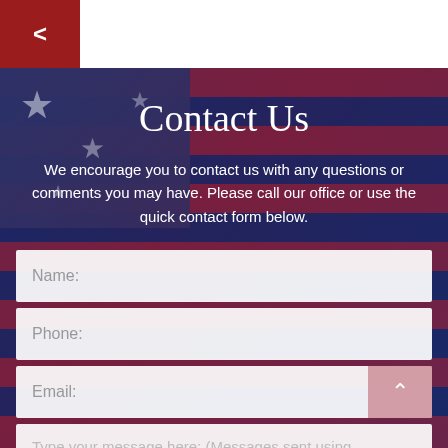[Figure (screenshot): Back navigation button with red background and left arrow on white header bar]
Contact Us
We encourage you to contact us with any questions or comments you may have. Please call our office or use the quick contact form below.
Name:
Phone:
Email:
Type your message here: (Messages sent using